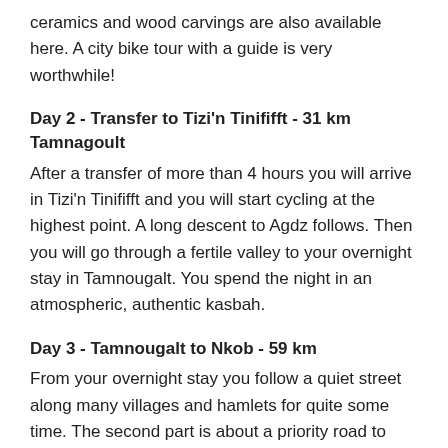ceramics and wood carvings are also available here. A city bike tour with a guide is very worthwhile!
Day 2 - Transfer to Tizi'n Tinififft - 31 km Tamnagoult
After a transfer of more than 4 hours you will arrive in Tizi'n Tinififft and you will start cycling at the highest point. A long descent to Agdz follows. Then you will go through a fertile valley to your overnight stay in Tamnougalt. You spend the night in an atmospheric, authentic kasbah.
Day 3 - Tamnougalt to Nkob - 59 km
From your overnight stay you follow a quiet street along many villages and hamlets for quite some time. The second part is about a priority road to Nkob. Here you will spend the night in a beautiful kasbah.
Day 4 - Transfer - 63 km to Alnif